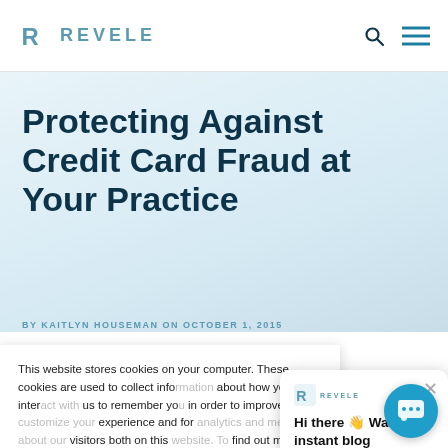REVELE
Protecting Against Credit Card Fraud at Your Practice
BY KAITLYN HOUSEMAN ON OCTOBER 1, 2015
This website stores cookies on your computer. These cookies are used to collect information about how you interact with us to remember you in order to improve and customize your experience and for analytics and metrics about our visitors both on this website. To find out more about the cookies we use, see our Privacy Policy.
Accept
Hi there 👋 Want instant blog updates?